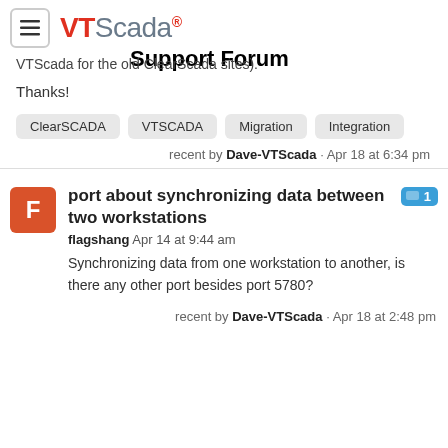VTScada Support Forum
VTScada for the old ClearScada sites).
Thanks!
ClearSCADA   VTSCADA   Migration   Integration
recent by Dave-VTScada · Apr 18 at 6:34 pm
port about synchronizing data between two workstations
flagshang   Apr 14 at 9:44 am
Synchronizing data from one workstation to another, is there any other port besides port 5780?
recent by Dave-VTScada · Apr 18 at 2:48 pm